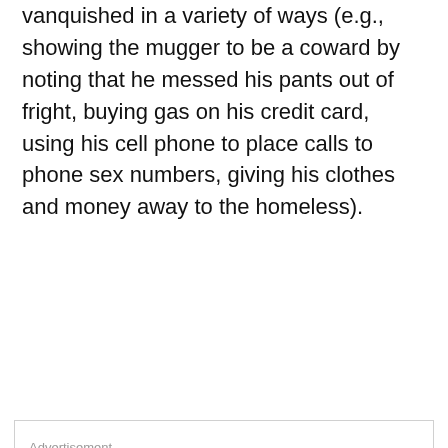vanquished in a variety of ways (e.g., showing the mugger to be a coward by noting that he messed his pants out of fright, buying gas on his credit card, using his cell phone to place calls to phone sex numbers, giving his clothes and money away to the homeless).
Advertisement